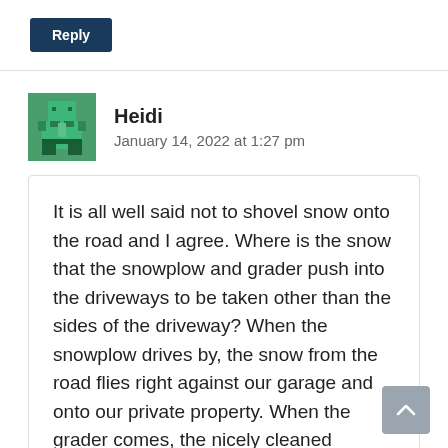[Figure (other): Reply button — dark navy blue button with white text 'Reply']
Heidi
January 14, 2022 at 1:27 pm
It is all well said not to shovel snow onto the road and I agree. Where is the snow that the snowplow and grader push into the driveways to be taken other than the sides of the driveway? When the snowplow drives by, the snow from the road flies right against our garage and onto our private property. When the grader comes, the nicely cleaned driveway gets blocked off